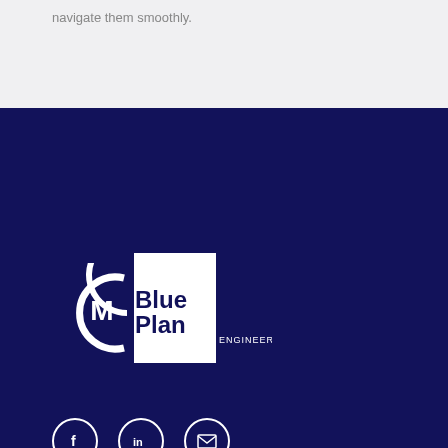navigate them smoothly.
[Figure (logo): CM BluePlan Engineering logo — white shield/circle CM mark on left, white square background with 'BluePlan' text in dark navy and 'ENGINEERING' below in white, all on dark navy background]
[Figure (infographic): Three social media icon circles in white outline on dark navy: Facebook (f), LinkedIn (in), and Email/envelope icon]
[Figure (other): Scroll-to-top chevron arrow up icon in white on dark navy background]
Services
> Asset Management